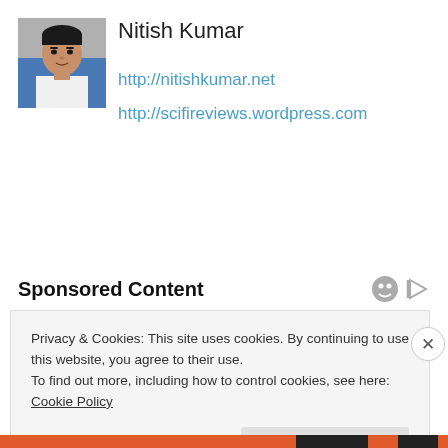[Figure (photo): Profile photo of a young man in a white shirt]
Nitish Kumar
http://nitishkumar.net
http://scifireviews.wordpress.com
Sponsored Content
Privacy & Cookies: This site uses cookies. By continuing to use this website, you agree to their use.
To find out more, including how to control cookies, see here: Cookie Policy